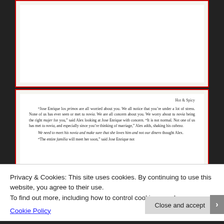[Figure (other): Top portion of a book page (white area, partially visible, no text readable)]
Hot & Spicy
“Jose Enrique los primos are all worried about you. We all notice that you’re under a lot of stress. None of us has ever seen or met tu novia. We are all concern about you. We worry about tu novia being the right mujer for you,” said Alex looking at Jose Enrique with concern. “It is not normal. Not one of us has met tu novia, and especially since you’re thinking of marriage,” Alex adds, shaking his cabeza.
We need to meet his novia and make sure that she loves him and not our dinero thought Alex.
“The entire familia will meet her soon,” said Jose Enrique not
Privacy & Cookies: This site uses cookies. By continuing to use this website, you agree to their use.
To find out more, including how to control cookies, see here: Cookie Policy
Close and accept